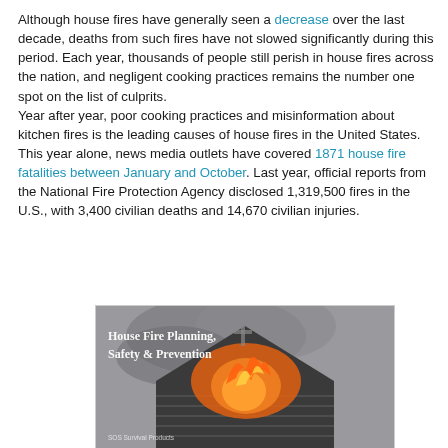Although house fires have generally seen a decrease over the last decade, deaths from such fires have not slowed significantly during this period. Each year, thousands of people still perish in house fires across the nation, and negligent cooking practices remains the number one spot on the list of culprits.
Year after year, poor cooking practices and misinformation about kitchen fires is the leading causes of house fires in the United States. This year alone, news media outlets have covered 1871 house fire fatalities between January and October. Last year, official reports from the National Fire Protection Agency disclosed 1,319,500 fires in the U.S., with 3,400 civilian deaths and 14,670 civilian injuries.
[Figure (photo): A house on fire showing the roof engulfed in flames with smoke, overlaid text reading 'House Fire Planning, Safety & Prevention' and 'SOS Survival Products']